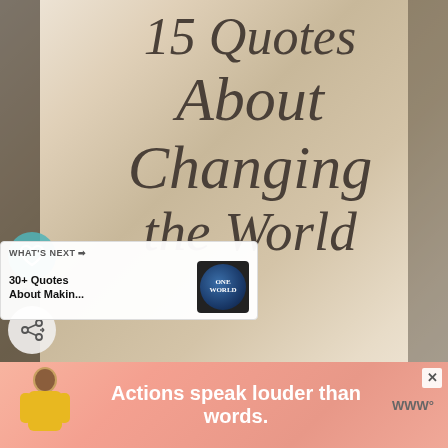[Figure (illustration): Webpage screenshot showing a title overlay on a blurred world map background with social share UI elements and an advertisement banner]
15 Quotes About Changing the World
306
WHAT'S NEXT → 30+ Quotes About Makin...
[Figure (illustration): Thumbnail of globe for 30+ Quotes About Making a Difference article]
[Figure (illustration): Advertisement banner: Actions speak louder than words. with a person figure in yellow jacket]